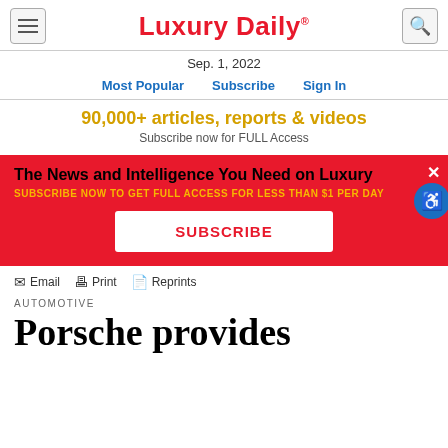Luxury Daily®
Sep. 1, 2022
Most Popular  Subscribe  Sign In
90,000+ articles, reports & videos
Subscribe now for FULL Access
[Figure (infographic): Red advertisement banner: 'The News and Intelligence You Need on Luxury' with gold subtext 'SUBSCRIBE NOW TO GET FULL ACCESS FOR LESS THAN $1 PER DAY' and a white SUBSCRIBE button. Accessibility icon on right.]
Email  Print  Reprints
AUTOMOTIVE
Porsche provides